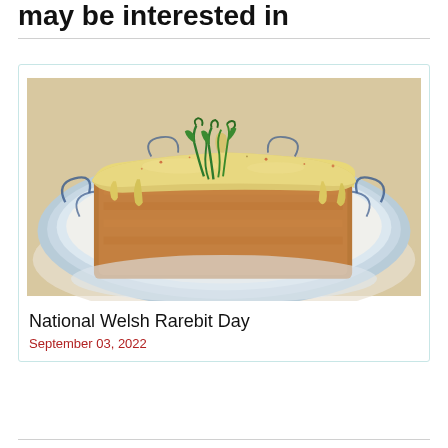may be interested in
[Figure (photo): A plate of Welsh Rarebit — toast covered in thick melted cheese sauce, garnished with sliced green onions, served on a blue and white decorative plate]
National Welsh Rarebit Day
September 03, 2022